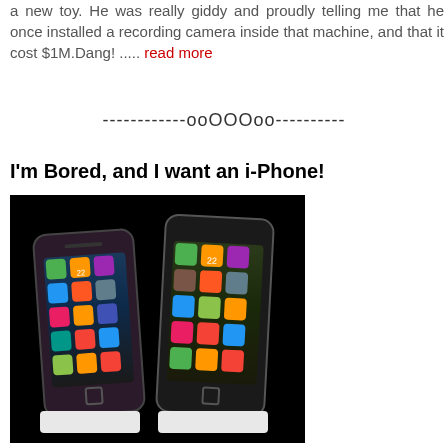a new toy. He was really giddy and proudly telling me that he once installed a recording camera inside that machine, and that it cost $1M.Dang! ..... read more
------------ooOOOoo----------
I'm Bored, and I want an i-Phone!
[Figure (photo): Two iPhones side by side on white docking stations against a black background, showing their colorful app screens]